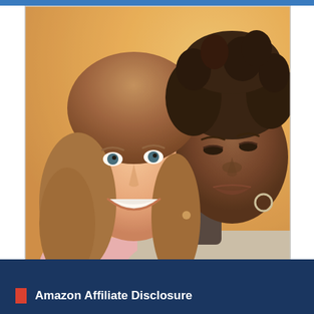[Figure (photo): Two young women posing together closely. The woman on the left has long wavy light brown hair, fair skin, and is smiling broadly. The woman on the right has natural curly black hair, darker skin, and is leaning her head against the first woman. Both appear to be outdoors with warm golden lighting.]
Amazon Affiliate Disclosure